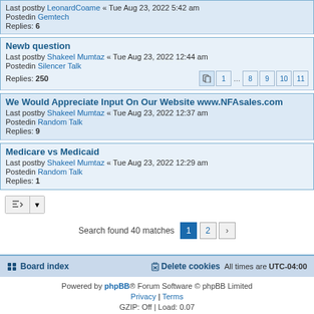Last postby LeonardCoame « Tue Aug 23, 2022 5:42 am
Posted in Gemtech
Replies: 6
Newb question
Last postby Shakeel Mumtaz « Tue Aug 23, 2022 12:44 am
Posted in Silencer Talk
Replies: 250
We Would Appreciate Input On Our Website www.NFAsales.com
Last postby Shakeel Mumtaz « Tue Aug 23, 2022 12:37 am
Posted in Random Talk
Replies: 9
Medicare vs Medicaid
Last postby Shakeel Mumtaz « Tue Aug 23, 2022 12:29 am
Posted in Random Talk
Replies: 1
Search found 40 matches  1  2  >
Board index  Delete cookies  All times are UTC-04:00
Powered by phpBB® Forum Software © phpBB Limited
Privacy | Terms
GZIP: Off | Load: 0.07